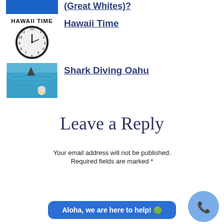[Figure (photo): Blue thumbnail image (partial, top of page), related to Great Whites article]
(Great Whites)?
[Figure (photo): Hawaii Time clock image with 'HAWAII TIME' text and analog clock face]
Hawaii Time
[Figure (photo): Shark fin visible above blue ocean water with person swimming nearby - Shark Diving Oahu]
Shark Diving Oahu
Leave a Reply
Your email address will not be published.
Required fields are marked *
Aloha, we are here to help! 🟢